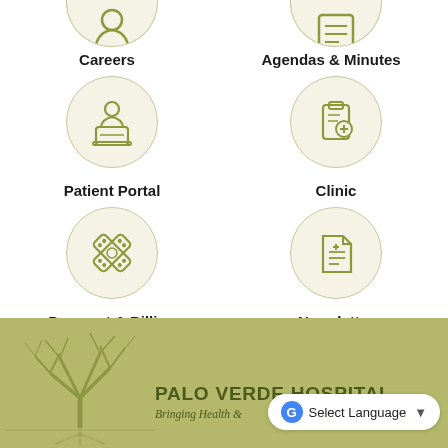[Figure (illustration): Partially visible circular icon for Careers (cropped at top)]
[Figure (illustration): Partially visible circular icon for Agendas & Minutes (cropped at top)]
Careers
Agendas & Minutes
[Figure (illustration): Circular icon with person at laptop representing Patient Portal]
[Figure (illustration): Circular icon with medical clipboard and cross representing Clinic]
Patient Portal
Clinic
[Figure (illustration): Circular icon with bandages/cross representing Payment & Billing]
[Figure (illustration): Circular icon with medical document/newsletter representing Newsletter]
Payment & Billing
Newsletter
[Figure (illustration): Olive-green footer with stylized bare tree silhouette reflected in water]
PALO VERDE HOSPITAL
Bringing Health &
[Figure (screenshot): Google Translate Select Language button overlay]